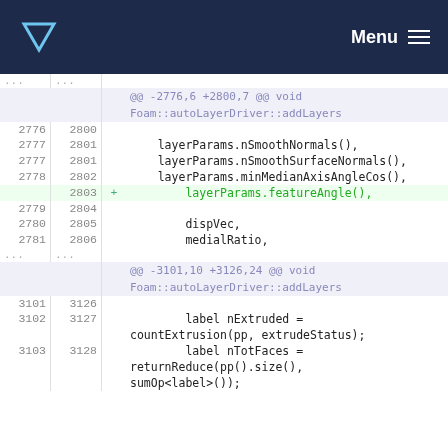Menu
... ...
@@ -2776,6 +2800,7 @@ void Foam::autoLayerDriver::addLayers
2776 2800    layerParams.nSmoothNormals(),
2777 2801    layerParams.nSmoothSurfaceNormals(),
2778 2802    layerParams.minMedianAxisAngleCos(),
     2803 +  layerParams.featureAngle(),
2779 2804
2780 2805    dispVec,
2781 2806    medialRatio,
... ...
@@ -3101,10 +3126,24 @@ void Foam::autoLayerDriver::addLayers
3101 3126
3102 3127    label nExtruded = countExtrusion(pp, extrudeStatus);
3103 3128    label nTotFaces = returnReduce(pp().size(), sumOp<label>());